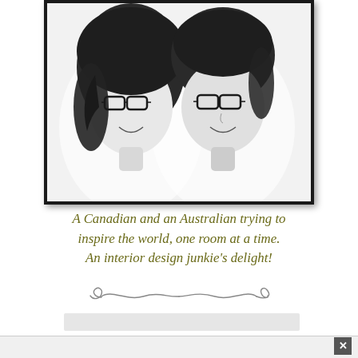[Figure (illustration): Black and white sketch-style portrait of two people wearing glasses inside a dark-bordered photo frame. Left person has longer dark hair, right person has shorter dark hair.]
A Canadian and an Australian trying to inspire the world, one room at a time. An interior design junkie's delight!
[Figure (illustration): Decorative swirl/flourish divider line]